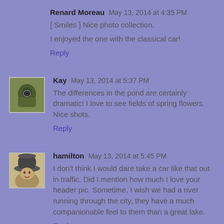Renard Moreau May 13, 2014 at 4:35 PM
[ Smiles ] Nice photo collection.
I enjoyed the one with the classical car!
Reply
[Figure (photo): Avatar photo of Kay – person holding a camera outdoors]
Kay May 13, 2014 at 5:37 PM
The differences in the pond are certainly dramatic! I love to see fields of spring flowers. Nice shots.
Reply
[Figure (photo): Avatar photo of hamilton – person wearing a hat]
hamilton May 13, 2014 at 5:45 PM
I don't think I would dare take a car like that out in traffic. Did I mention how much I love your header pic. Sometime, I wish we had a river running through the city, they have a much companionable feel to them than a great lake.
Reply